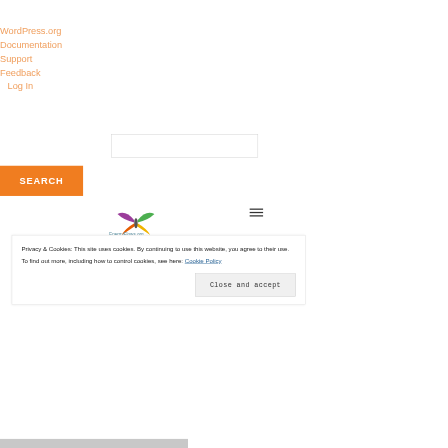WordPress.org
Documentation
Support
Feedback
Log In
[Figure (screenshot): Search input box]
[Figure (screenshot): Orange SEARCH button]
[Figure (logo): EnergyFlows.org butterfly logo with site name]
[Figure (screenshot): Hamburger menu icon (three horizontal lines)]
Privacy & Cookies: This site uses cookies. By continuing to use this website, you agree to their use. To find out more, including how to control cookies, see here: Cookie Policy
Close and accept